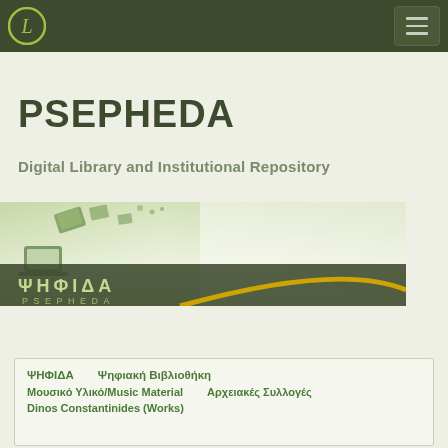PSEPHEDA Digital Library and Institutional Repository - header navigation bar with logo and hamburger menu
PSEPHEDA
Digital Library and Institutional Repository
[Figure (illustration): PSEPHEDA / ΨΗΦΙΔΑ digital library banner image showing floating books/devices on a gradient green-white background with a golden arc, and the text ΨΗΦΙΔΑ PSEPHEDA]
ΨΗΦΙΔΑ   Ψηφιακή Βιβλιοθήκη
Μουσικό Υλικό/Music Material   Αρχειακές Συλλογές
Dinos Constantinides (Works)